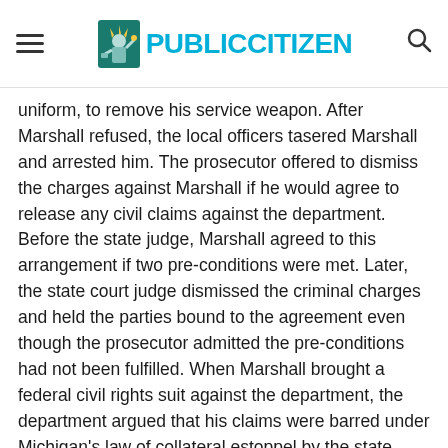Public Citizen
uniform, to remove his service weapon. After Marshall refused, the local officers tasered Marshall and arrested him. The prosecutor offered to dismiss the charges against Marshall if he would agree to release any civil claims against the department. Before the state judge, Marshall agreed to this arrangement if two pre-conditions were met. Later, the state court judge dismissed the criminal charges and held the parties bound to the agreement even though the prosecutor admitted the pre-conditions had not been fulfilled. When Marshall brought a federal civil rights suit against the department, the department argued that his claims were barred under Michigan's law of collateral estoppel by the state court's order. The district court agreed and dismissed the case. The Sixth Circuit reversed, holding that Michigan law wouldn't bar the civil rights suit because the state court had not actually litigated the pre-conditions and...